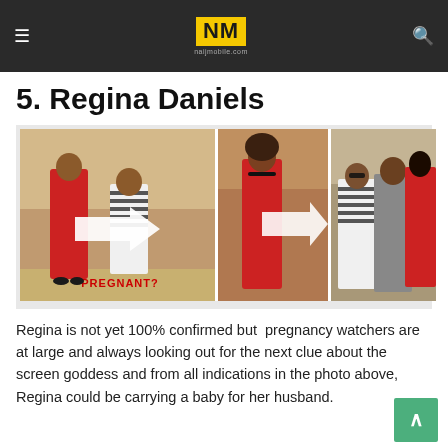NM naijmobile.com
5. Regina Daniels
[Figure (photo): Composite of three photos showing Regina Daniels in a red dress with a large white arrow pointing to her midsection, with text 'PREGNANT?' overlaid; alongside photos of two women and a man in conversation.]
Regina is not yet 100% confirmed but pregnancy watchers are at large and always looking out for the next clue about the screen goddess and from all indications in the photo above, Regina could be carrying a baby for her husband.